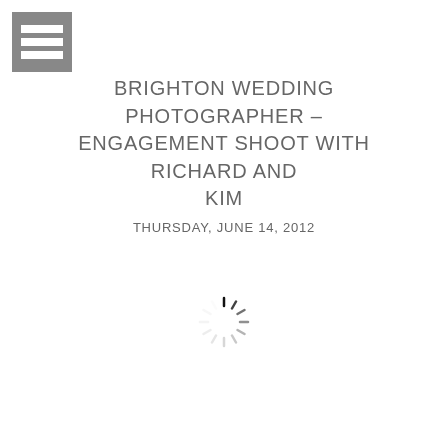[Figure (other): Menu/navigation icon: grey square with three horizontal white bars]
BRIGHTON WEDDING PHOTOGRAPHER – ENGAGEMENT SHOOT WITH RICHARD AND KIM
THURSDAY, JUNE 14, 2012
[Figure (other): Loading spinner icon — circular arrangement of radial lines in grey/black]